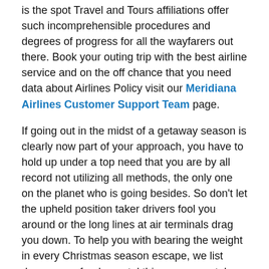is the spot Travel and Tours affiliations offer such incomprehensible procedures and degrees of progress for all the wayfarers out there. Book your outing trip with the best airline service and on the off chance that you need data about Airlines Policy visit our Meridiana Airlines Customer Support Team page.
If going out in the midst of a getaway season is clearly now part of your approach, you have to hold up under a top need that you are by all record not utilizing all methods, the only one on the planet who is going besides. So don't let the upheld position taker drivers fool you around or the long lines at air terminals drag you down. To help you with bearing the weight in every Christmas season escape, we list down some fundamental things you can take on before you gather your pack.
To research
It's a sharp technique to envision a period yet it's sensibly lively to explore a couple of things to keep you stable during your trip.